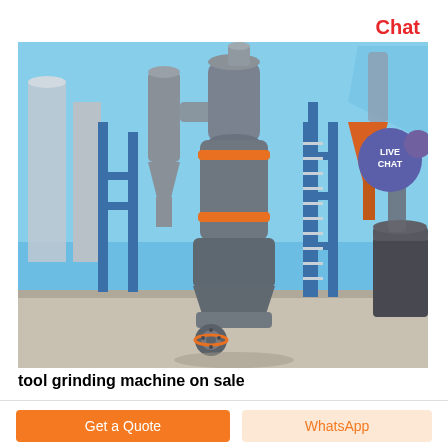Chat Now
[Figure (photo): Industrial grinding/milling machine installation outdoors, showing large cylindrical grey metal mill with orange accent rings, connected ductwork and cyclones, blue structural steel framework, set against clear blue sky]
tool grinding machine on sale
Get a Quote
WhatsApp